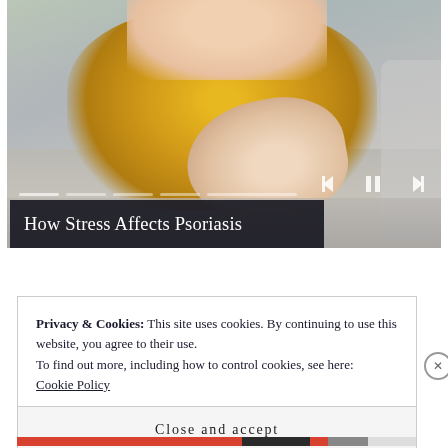[Figure (photo): Photo of a blonde woman wearing a yellow knit sweater, sitting on a sofa, scratching her elbow. Media player controls (skip-back, pause, skip-forward) visible in lower right of image. Progress indicator dots visible at bottom of image.]
How Stress Affects Psoriasis
Privacy & Cookies: This site uses cookies. By continuing to use this website, you agree to their use.
To find out more, including how to control cookies, see here: Cookie Policy
Close and accept